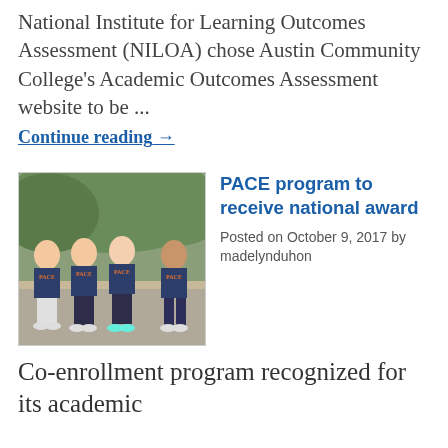National Institute for Learning Outcomes Assessment (NILOA) chose Austin Community College's Academic Outcomes Assessment website to be ...
Continue reading →
[Figure (photo): Group of four young people sitting outdoors wearing matching navy PACE t-shirts with an orange logo]
PACE program to receive national award
Posted on October 9, 2017 by madelynduhon
Co-enrollment program recognized for its academic